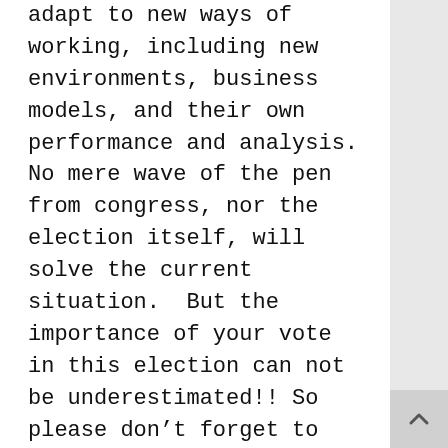adapt to new ways of working, including new environments, business models, and their own performance and analysis.
No mere wave of the pen from congress, nor the election itself, will solve the current situation.  But the importance of your vote in this election can not be underestimated!! So please don’t forget to Vote on November 4th.
We truly hope that the persons elected will help push us in the right direction.
To learn more about how we can contribute to your job search and